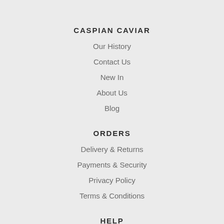CASPIAN CAVIAR
Our History
Contact Us
New In
About Us
Blog
ORDERS
Delivery & Returns
Payments & Security
Privacy Policy
Terms & Conditions
HELP
Cookie Policy